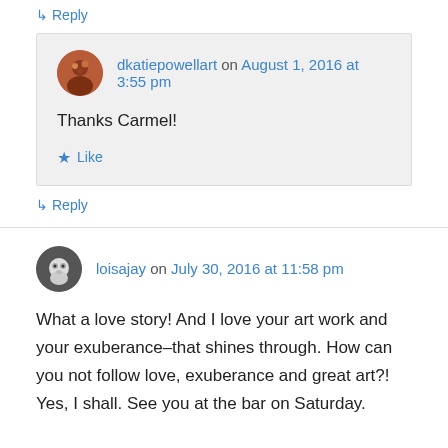↳ Reply
dkatiepowellart on August 1, 2016 at 3:55 pm
Thanks Carmel!
★ Like
↳ Reply
loisajay on July 30, 2016 at 11:58 pm
What a love story! And I love your art work and your exuberance–that shines through. How can you not follow love, exuberance and great art?! Yes, I shall. See you at the bar on Saturday.